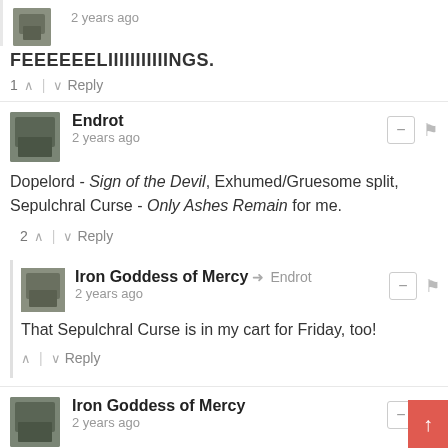2 years ago
FEEEEEELIIIIIIIIIIINGS.
1  ↑ | ↓  Reply
Endrot
2 years ago
Dopelord - Sign of the Devil, Exhumed/Gruesome split, Sepulchral Curse - Only Ashes Remain for me.
2  ↑ | ↓  Reply
Iron Goddess of Mercy → Endrot
2 years ago
That Sepulchral Curse is in my cart for Friday, too!
↑ | ↓  Reply
Iron Goddess of Mercy
2 years ago
An update from Awenden on Bandcamp sales from their Facebook:
"100% of what we make from bandcamp sales, from last week at least until the end of June will be donated to both